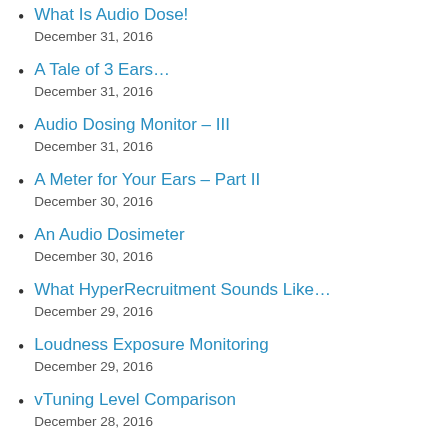What Is Audio Dose?
December 31, 2016
A Tale of 3 Ears…
December 31, 2016
Audio Dosing Monitor – III
December 31, 2016
A Meter for Your Ears – Part II
December 30, 2016
An Audio Dosimeter
December 30, 2016
What HyperRecruitment Sounds Like…
December 29, 2016
Loudness Exposure Monitoring
December 29, 2016
vTuning Level Comparison
December 28, 2016
Ear Safety